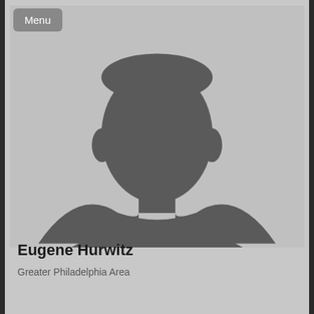[Figure (photo): Default profile silhouette placeholder image — grey background with a dark grey generic person silhouette (head and shoulders)]
Eugene Hurwitz
Greater Philadelphia Area